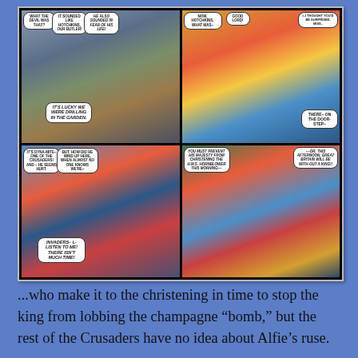[Figure (illustration): A four-panel comic book page showing superhero characters including Captain America and a female hero in red and yellow costume (Dyna-Mite/Crusaders). Panel 1 (top-left): Characters react to a noise – 'What the devil was that?', 'It sounded like Hotchkins, our butler!', 'He also sounded in fear of his life!', 'It's lucky we were drilling in the garden.' Panel 2 (top-right): Female hero confronts others – 'Now, Hotchkins, what was–', 'Good Lord!', 'I–I thought you'd be surprised, Miss–', 'There– on the doorstep–' Panel 3 (bottom-left): Action scene – 'It's Dyna-Mite– one of the Crusaders! And – he seems hurt.', 'But, how did he wind up here, when almost no one knows we're–', 'Invaders– L-listen to me! There isn't much time!' Panel 4 (bottom-right): Urgent scene – 'You must prevent His Majesty from christening the H.M.S. Hornblower this morning––', '––or, this afternoon, Great Britain will be without a king!!']
...who make it to the christening in time to stop the king from lobbing the champagne "bomb," but the rest of the Crusaders have no idea about Alfie's ruse.